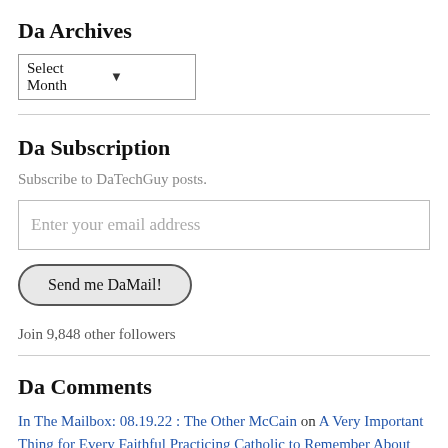Da Archives
[Figure (other): Dropdown select box showing 'Select Month' with a chevron arrow]
Da Subscription
Subscribe to DaTechGuy posts.
[Figure (other): Email input field with placeholder 'Enter your email address']
[Figure (other): Button labeled 'Send me DaMail!']
Join 9,848 other followers
Da Comments
In The Mailbox: 08.19.22 : The Other McCain on A Very Important Thing for Every Faithful Practicing Catholic to Remember About Those on the